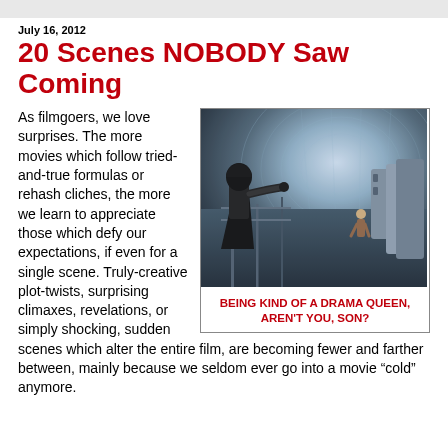July 16, 2012
20 Scenes NOBODY Saw Coming
As filmgoers, we love surprises. The more movies which follow tried-and-true formulas or rehash cliches, the more we learn to appreciate those which defy our expectations, if even for a single scene. Truly-creative plot-twists, surprising climaxes, revelations, or simply shocking, sudden scenes which alter the entire film, are becoming fewer and farther between, mainly because we seldom ever go into a movie “cold” anymore.
[Figure (photo): A dark armored figure (Darth Vader) reaching out in a large futuristic industrial setting, with a person hanging below]
BEING KIND OF A DRAMA QUEEN, AREN'T YOU, SON?